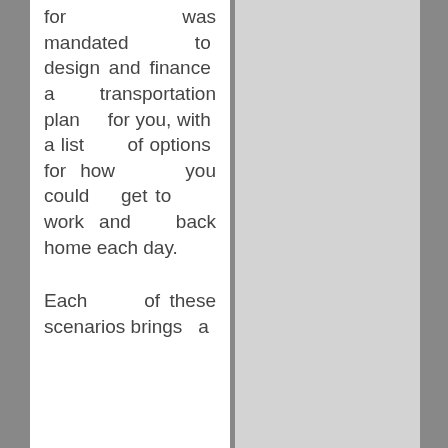for was mandated to design and finance a transportation plan for you, with a list of options for how you could get to work and back home each day.
Each of these scenarios brings a